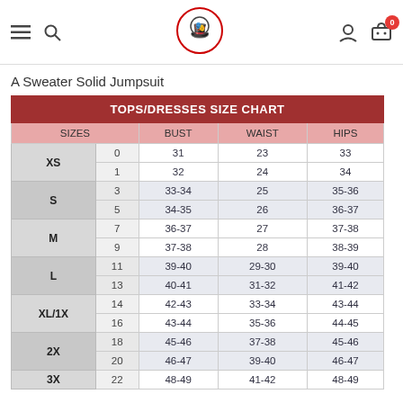Navigation header with hamburger menu, search icon, logo, user icon, cart (0)
A Sweater Solid Jumpsuit
| SIZES |  | BUST | WAIST | HIPS |
| --- | --- | --- | --- | --- |
| XS | 0 | 31 | 23 | 33 |
| XS | 1 | 32 | 24 | 34 |
| S | 3 | 33-34 | 25 | 35-36 |
| S | 5 | 34-35 | 26 | 36-37 |
| M | 7 | 36-37 | 27 | 37-38 |
| M | 9 | 37-38 | 28 | 38-39 |
| L | 11 | 39-40 | 29-30 | 39-40 |
| L | 13 | 40-41 | 31-32 | 41-42 |
| XL/1X | 14 | 42-43 | 33-34 | 43-44 |
| XL/1X | 16 | 43-44 | 35-36 | 44-45 |
| 2X | 18 | 45-46 | 37-38 | 45-46 |
| 2X | 20 | 46-47 | 39-40 | 46-47 |
| 3X | 22 | 48-49 | 41-42 | 48-49 |